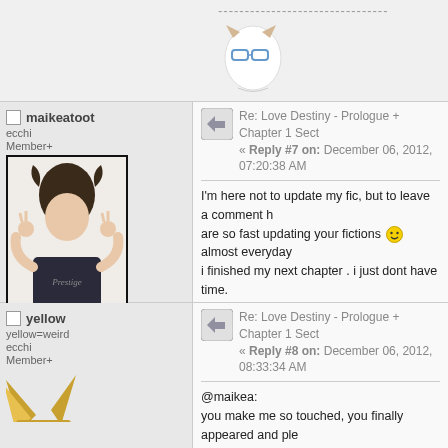[Figure (illustration): Top section showing dashed line and anime avatar icon with glasses]
maikeatoot
ecchi
Member+
Posts: 380
'KameShige'!!!
[Figure (photo): User avatar photo of a young woman in a dark tank top with text 'Prestige', making peace signs near her head]
Re: Love Destiny - Prologue + Chapter 1 Sect
« Reply #7 on: December 06, 2012, 07:20:38 AM
I'm here not to update my fic, but to leave a comment here  are so fast updating your fictions  almost everyday  i finished my next chapter . i just dont have time.
back to your story.. its a TakaGaki right ??
[Figure (illustration): Two pixel art characters - anime style sprites]
yellow
yellow=weird
ecchi
Member+
Re: Love Destiny - Prologue + Chapter 1 Sect
« Reply #8 on: December 06, 2012, 08:33:34 AM
@maikea:
you make me so touched, you finally appeared and ple